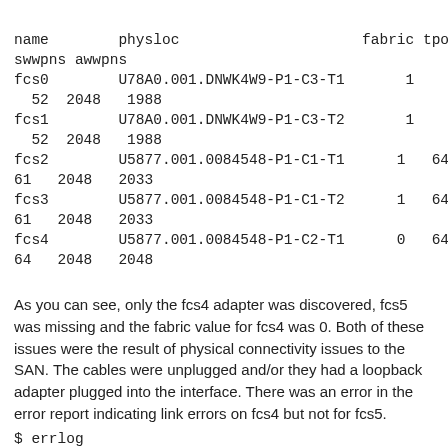| name | physloc | fabric | tports | aports | swwpns | awwpns |
| --- | --- | --- | --- | --- | --- | --- |
| fcs0 | U78A0.001.DNWK4W9-P1-C3-T1 | 1 | 64 | 52 | 2048 | 1988 |
| fcs1 | U78A0.001.DNWK4W9-P1-C3-T2 | 1 | 64 | 52 | 2048 | 1988 |
| fcs2 | U5877.001.0084548-P1-C1-T1 | 1 | 64 | 61 | 2048 | 2033 |
| fcs3 | U5877.001.0084548-P1-C1-T2 | 1 | 64 | 61 | 2048 | 2033 |
| fcs4 | U5877.001.0084548-P1-C2-T1 | 0 | 64 | 64 | 2048 | 2048 |
As you can see, only the fcs4 adapter was discovered, fcs5 was missing and the fabric value for fcs4 was 0. Both of these issues were the result of physical connectivity issues to the SAN. The cables were unplugged and/or they had a loopback adapter plugged into the interface. There was an error in the error report indicating link errors on fcs4 but not for fcs5.
$ errlog
IDENTIFIER TIMESTAMP  T C RESOURCE_NAME DESCRIPTION